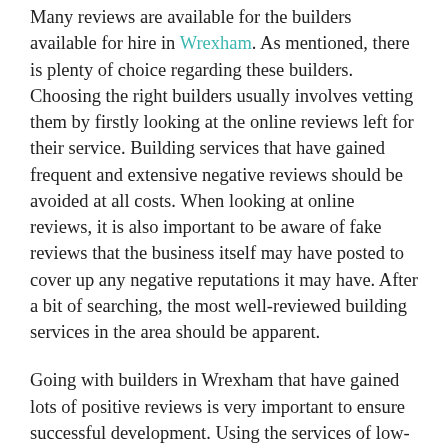Many reviews are available for the builders available for hire in Wrexham. As mentioned, there is plenty of choice regarding these builders. Choosing the right builders usually involves vetting them by firstly looking at the online reviews left for their service. Building services that have gained frequent and extensive negative reviews should be avoided at all costs. When looking at online reviews, it is also important to be aware of fake reviews that the business itself may have posted to cover up any negative reputations it may have. After a bit of searching, the most well-reviewed building services in the area should be apparent.
Going with builders in Wrexham that have gained lots of positive reviews is very important to ensure successful development. Using the services of low-quality builders can cause the development to become significantly delayed, as well as cost much more than what has been budgeted. Considering many do not have the luxury of